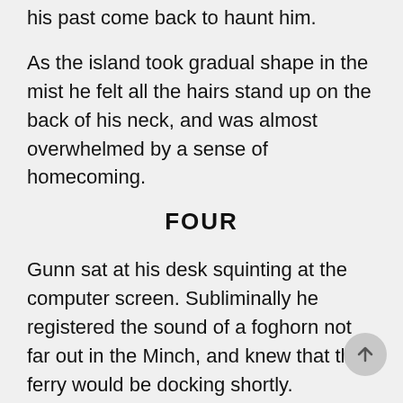his past come back to haunt him.
As the island took gradual shape in the mist he felt all the hairs stand up on the back of his neck, and was almost overwhelmed by a sense of homecoming.
FOUR
Gunn sat at his desk squinting at the computer screen. Subliminally he registered the sound of a foghorn not far out in the Minch, and knew that the ferry would be docking shortly.
He shared his first-floor office with two other detectives, and had a fine view from his window of the Blythswood Care charity